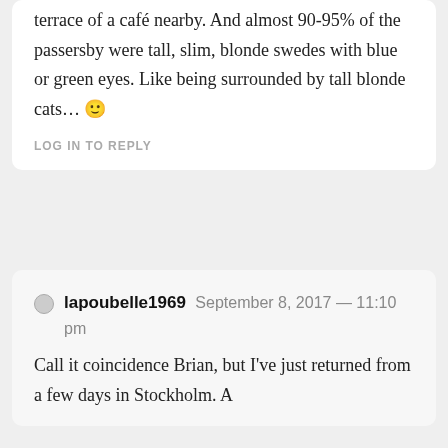terrace of a café nearby. And almost 90-95% of the passersby were tall, slim, blonde swedes with blue or green eyes. Like being surrounded by tall blonde cats… 🙂
LOG IN TO REPLY
lapoubelle1969 September 8, 2017 — 11:10 pm
Call it coincidence Brian, but I've just returned from a few days in Stockholm. A